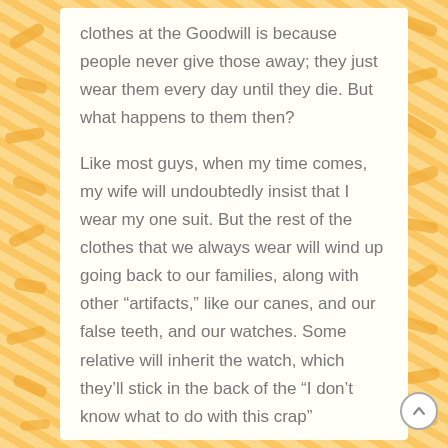clothes at the Goodwill is because people never give those away; they just wear them every day until they die. But what happens to them then?
Like most guys, when my time comes, my wife will undoubtedly insist that I wear my one suit. But the rest of the clothes that we always wear will wind up going back to our families, along with other “artifacts,” like our canes, and our false teeth, and our watches. Some relative will inherit the watch, which they’ll stick in the back of the “I don’t know what to do with this crap”